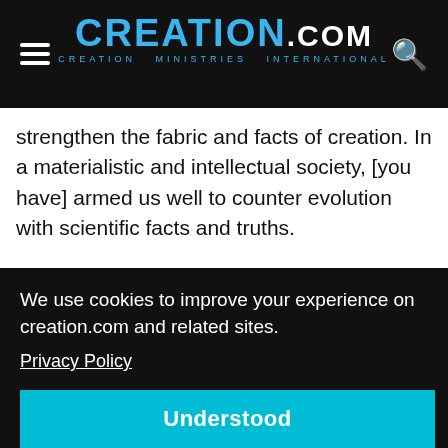CREATION.com — CREATION MINISTRIES INTERNATIONAL
strengthen the fabric and facts of creation. In a materialistic and intellectual society, [you have] armed us well to counter evolution with scientific facts and truths.
Without your resources, my sons would be limping around in High school and college and not be able to back themselves up.
We use cookies to improve your experience on creation.com and related sites.
Privacy Policy
Understood